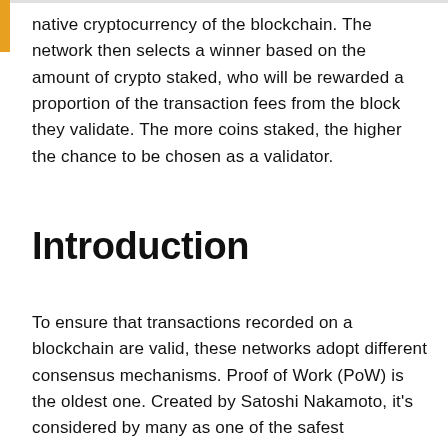native cryptocurrency of the blockchain. The network then selects a winner based on the amount of crypto staked, who will be rewarded a proportion of the transaction fees from the block they validate. The more coins staked, the higher the chance to be chosen as a validator.
Introduction
To ensure that transactions recorded on a blockchain are valid, these networks adopt different consensus mechanisms. Proof of Work (PoW) is the oldest one. Created by Satoshi Nakamoto, it's considered by many as one of the safest alternatives. Proof of Stake (PoS) was created to be...